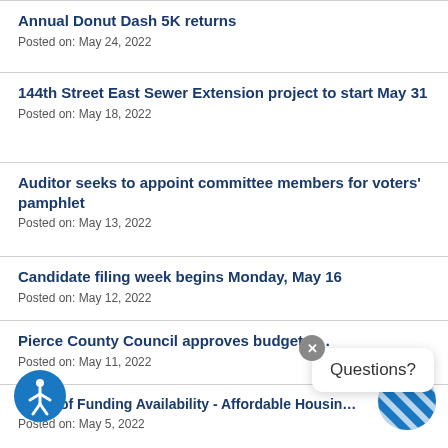Annual Donut Dash 5K returns
Posted on: May 24, 2022
144th Street East Sewer Extension project to start May 31
Posted on: May 18, 2022
Auditor seeks to appoint committee members for voters' pamphlet
Posted on: May 13, 2022
Candidate filing week begins Monday, May 16
Posted on: May 12, 2022
Pierce County Council approves budget a…
Posted on: May 11, 2022
Notice of Funding Availability - Affordable Housin…
Posted on: May 5, 2022